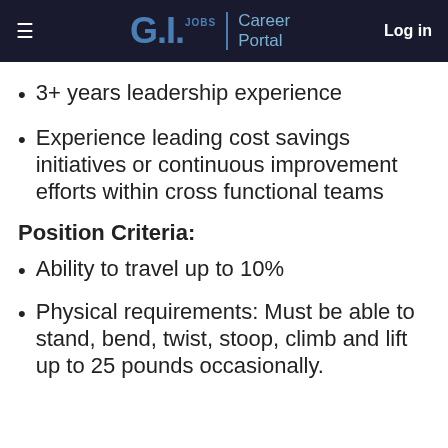G.I. JOBS | Career Portal  Log in
3+ years leadership experience
Experience leading cost savings initiatives or continuous improvement efforts within cross functional teams
Position Criteria:
Ability to travel up to 10%
Physical requirements: Must be able to stand, bend, twist, stoop, climb and lift up to 25 pounds occasionally.